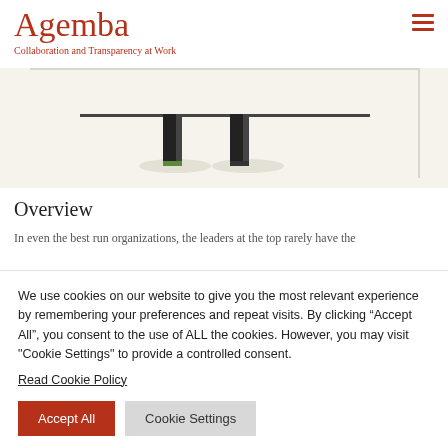Agemba — Collaboration and Transparency at Work
[Figure (illustration): Partial view of a balance scale illustration on a beige/cream background, showing two vertical black pillars at the center of the scale beam, with a green accent at the base of the left pillar.]
Overview
In even the best run organizations, the leaders at the top rarely have the
We use cookies on our website to give you the most relevant experience by remembering your preferences and repeat visits. By clicking “Accept All”, you consent to the use of ALL the cookies. However, you may visit "Cookie Settings" to provide a controlled consent.
Read Cookie Policy
Accept All   Cookie Settings